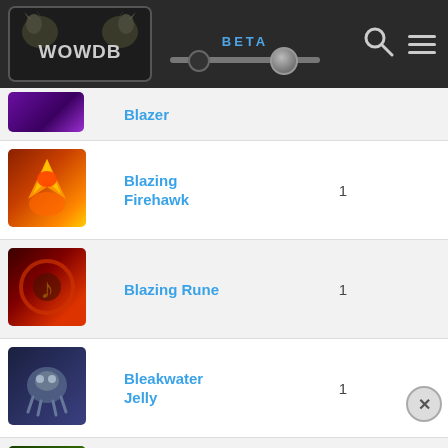WOWDB BETA
| Icon | Name | Qty |  | Source | Con... |
| --- | --- | --- | --- | --- | --- |
| [icon] | Blazing Firehawk | 1 |  |  | Con... |
| [icon] | Blazing Rune | 1 |  | Looted | Con... |
| [icon] | Bleakwater Jelly | 1 |  | Looted | Con... |
| [icon] | Blessed Seed | 1 |  |  | Con... |
| [icon] | Blighted Spore | 1 |  | Looted | Con... |
| [icon] | Bloodbrood Whelpling | 1 |  |  | Con... |
| [icon] | Bloodstone Tunneler | 1 |  |  | Con... |
| [icon] | ... | ... |  |  | ... |